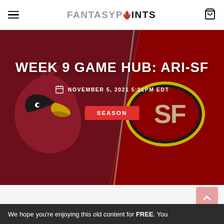Fantasy Points
[Figure (illustration): Hero banner with dark red/maroon split background showing Arizona Cardinals logo on the left and San Francisco 49ers logo on the right, with a diagonal gray dividing line]
WEEK 9 GAME HUB: ARI-SF
NOVEMBER 5, 2021 5:01PM EDT
SEASON
We hope you're enjoying this old content for FREE. You